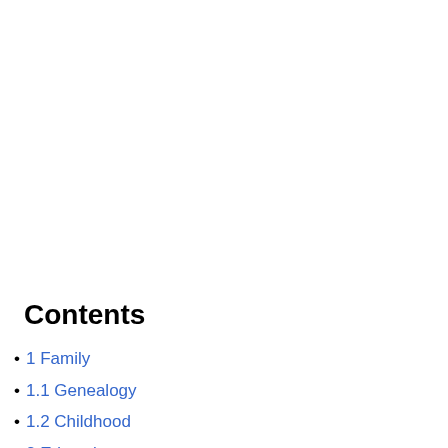Contents
1 Family
1.1 Genealogy
1.2 Childhood
2 Education
2.1 First marriage